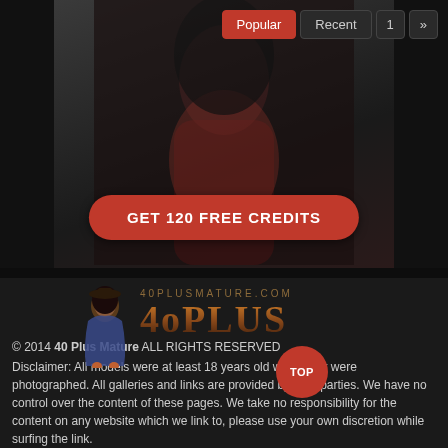[Figure (screenshot): Navigation bar with Popular, Recent, 1, and arrow buttons]
[Figure (photo): Woman in red lingerie promotional photo with GET 120 FREE CREDITS button]
[Figure (logo): 40PlusMature.com logo with illustrated figure and stylized 40PLUS text]
© 2014 40 Plus Mature ALL RIGHTS RESERVED
Disclaimer: All models were at least 18 years old when they were photographed. All galleries and links are provided by third parties. We have no control over the content of these pages. We take no responsibility for the content on any website which we link to, please use your own discretion while surfing the link.